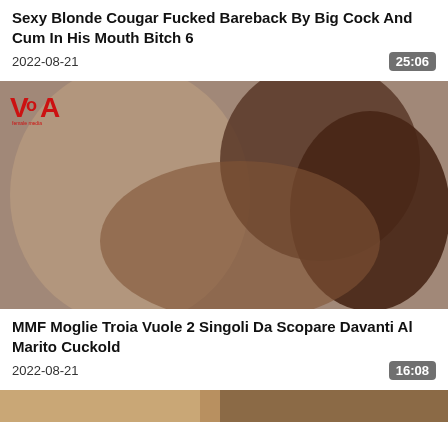Sexy Blonde Cougar Fucked Bareback By Big Cock And Cum In His Mouth Bitch 6
2022-08-21
[Figure (photo): Video thumbnail showing adult content with a logo badge in top-left corner. Duration badge showing 25:06.]
MMF Moglie Troia Vuole 2 Singoli Da Scopare Davanti Al Marito Cuckold
2022-08-21
[Figure (photo): Partial video thumbnail at bottom of page. Duration badge showing 16:08.]